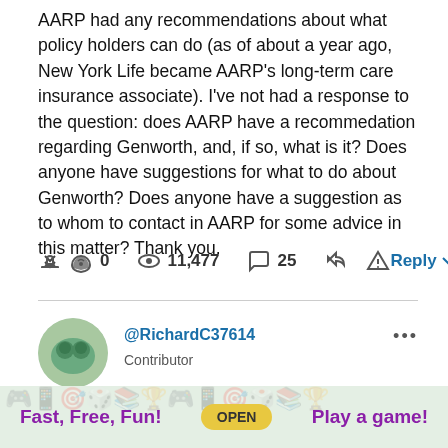AARP had any recommendations about what policy holders can do (as of about a year ago, New York Life became AARP's long-term care insurance associate). I've not had a response to the question: does AARP have a recommedation regarding Genworth, and, if so, what is it? Does anyone have suggestions for what to do about Genworth? Does anyone have a suggestion as to whom to contact in AARP for some advice in this matter? Thank you.
[Figure (infographic): Action bar with thumbs up icon showing 0 likes, eye icon showing 11,477 views, comment bubble showing 25 comments, share icon, flag/report icon, and Reply button with chevron]
@RichardC37614
Contributor

06-22-2022 03:35 PM
[Figure (infographic): Ad banner at bottom: Fast, Free, Fun! OPEN Play a game! with game-themed icon background]